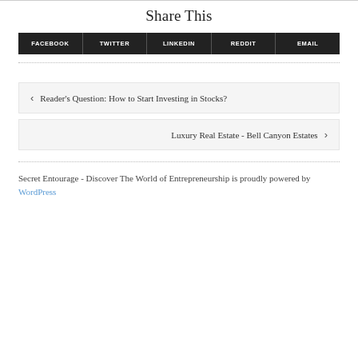Share This
FACEBOOK | TWITTER | LINKEDIN | REDDIT | EMAIL
< Reader's Question: How to Start Investing in Stocks?
Luxury Real Estate - Bell Canyon Estates >
Secret Entourage - Discover The World of Entrepreneurship is proudly powered by WordPress